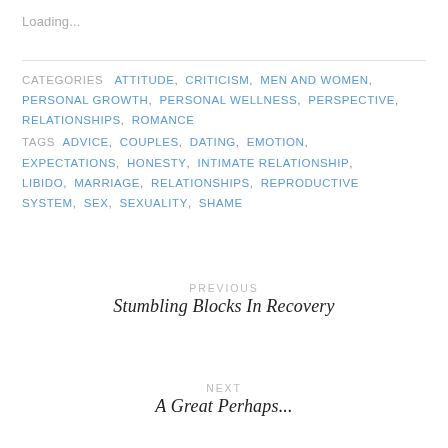Loading...
CATEGORIES  ATTITUDE, CRITICISM, MEN AND WOMEN, PERSONAL GROWTH, PERSONAL WELLNESS, PERSPECTIVE, RELATIONSHIPS, ROMANCE
TAGS  ADVICE, COUPLES, DATING, EMOTION, EXPECTATIONS, HONESTY, INTIMATE RELATIONSHIP, LIBIDO, MARRIAGE, RELATIONSHIPS, REPRODUCTIVE SYSTEM, SEX, SEXUALITY, SHAME
PREVIOUS
Stumbling Blocks In Recovery
NEXT
A Great Perhaps...